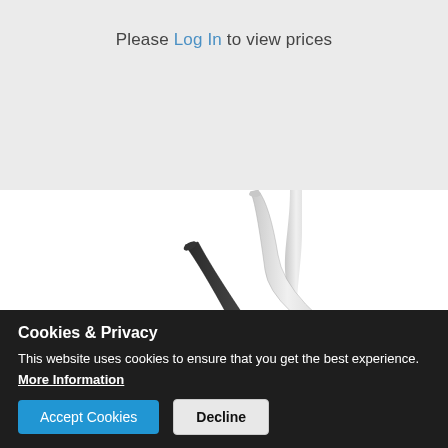Please Log In to view prices
[Figure (photo): Two bent drinking straws — one black silicone and one metallic stainless steel — shown at an angle on a white background]
Cookies & Privacy
This website uses cookies to ensure that you get the best experience.
More Information
Accept Cookies  Decline